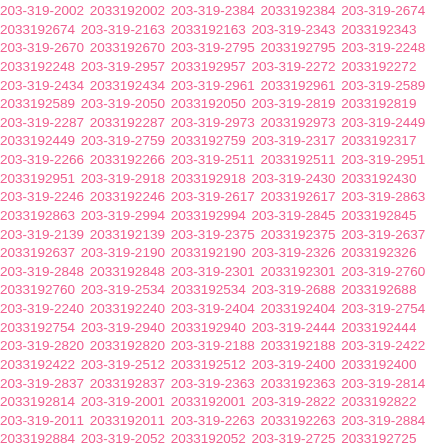203-319-2002 2033192002 203-319-2384 2033192384 203-319-2674 2033192674 203-319-2163 2033192163 203-319-2343 2033192343 203-319-2670 2033192670 203-319-2795 2033192795 203-319-2248 2033192248 203-319-2957 2033192957 203-319-2272 2033192272 203-319-2434 2033192434 203-319-2961 2033192961 203-319-2589 2033192589 203-319-2050 2033192050 203-319-2819 2033192819 203-319-2287 2033192287 203-319-2973 2033192973 203-319-2449 2033192449 203-319-2759 2033192759 203-319-2317 2033192317 203-319-2266 2033192266 203-319-2511 2033192511 203-319-2951 2033192951 203-319-2918 2033192918 203-319-2430 2033192430 203-319-2246 2033192246 203-319-2617 2033192617 203-319-2863 2033192863 203-319-2994 2033192994 203-319-2845 2033192845 203-319-2139 2033192139 203-319-2375 2033192375 203-319-2637 2033192637 203-319-2190 2033192190 203-319-2326 2033192326 203-319-2848 2033192848 203-319-2301 2033192301 203-319-2760 2033192760 203-319-2534 2033192534 203-319-2688 2033192688 203-319-2240 2033192240 203-319-2404 2033192404 203-319-2754 2033192754 203-319-2940 2033192940 203-319-2444 2033192444 203-319-2820 2033192820 203-319-2188 2033192188 203-319-2422 2033192422 203-319-2512 2033192512 203-319-2400 2033192400 203-319-2837 2033192837 203-319-2363 2033192363 203-319-2814 2033192814 203-319-2001 2033192001 203-319-2822 2033192822 203-319-2011 2033192011 203-319-2263 2033192263 203-319-2884 2033192884 203-319-2052 2033192052 203-319-2725 2033192725 203-319-2844 2033192844 203-319-2695 2033192695 203-319-2217